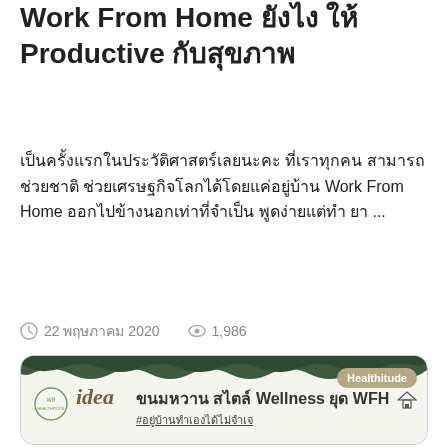Work From Home ยังไง ให้ Productive กับสุขภาพ
เป็นครั้งแรกในประวัติศาสตร์เลยนะคะ ที่เราทุกคนสามารถช่วยชาติ ช่วยเศรษฐกิจโลกได้โดยแค่อยู่บ้าน Work From Home ออกไปข้างนอกเท่าที่จำเป็น พูดง่ายแต่ทำยา ...
22 พฤษภาคม 2020   1,986
[Figure (illustration): A decorative card with a wavy dark green top border on a light background. Contains the W9 logo on the left, the word 'idea' in italic script, Thai text for 'ขนมหวาน สไตล์ Wellness ยุด WFH', a hashtag '#อยู่บ้านทำเองได้ไม่จำเจ', and a 'Healthitude' badge on the top right.]